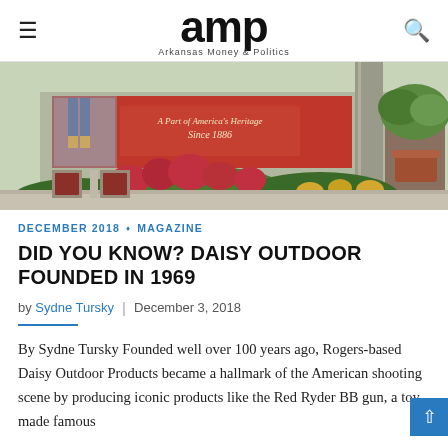amp Arkansas Money & Politics
[Figure (photo): Exterior storefront photo showing a shop with red signage reading 'A Part of America's Heritage Since 1886', colorful flowers and potted plants in front, and a concrete column to the right.]
DECEMBER 2018 ◆ MAGAZINE
DID YOU KNOW? DAISY OUTDOOR FOUNDED IN 1969
by Sydne Tursky | December 3, 2018
By Sydne Tursky Founded well over 100 years ago, Rogers-based Daisy Outdoor Products became a hallmark of the American shooting scene by producing iconic products like the Red Ryder BB gun, a toy made famous